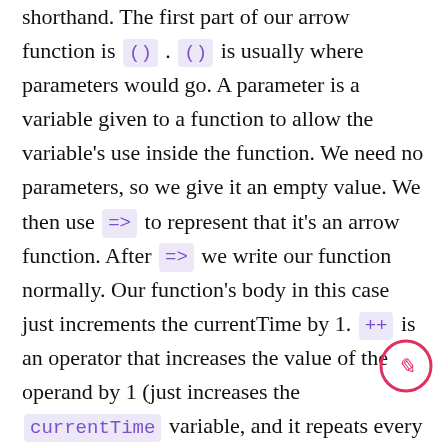shorthand. The first part of our arrow function is () . () is usually where parameters would go. A parameter is a variable given to a function to allow the variable's use inside the function. We need no parameters, so we give it an empty value. We then use => to represent that it's an arrow function. After => we write our function normally. Our function's body in this case just increments the currentTime by 1. ++ is an operator that increases the value of the operand by 1 (just increases the currentTime variable, and it repeats every 1000 miliseconds (1 second), so it's basically a timer we created).
We do another equality check, this time making sure that the location property of the event